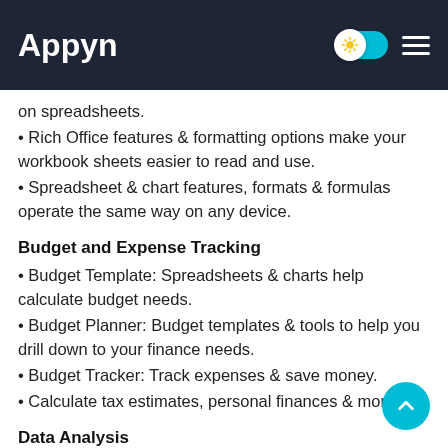Appyn
on spreadsheets.
• Rich Office features & formatting options make your workbook sheets easier to read and use.
• Spreadsheet & chart features, formats & formulas operate the same way on any device.
Budget and Expense Tracking
• Budget Template: Spreadsheets & charts help calculate budget needs.
• Budget Planner: Budget templates & tools to help you drill down to your finance needs.
• Budget Tracker: Track expenses & save money.
• Calculate tax estimates, personal finances & more.
Data Analysis
• Chart maker to annotate, edit & insert charts that bring d...